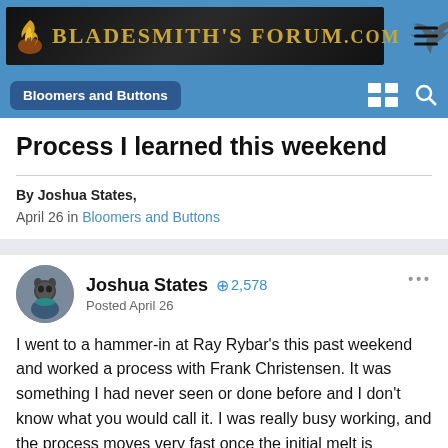Bladesmith's Forum.com
Bloomers and Buttons
Process I learned this weekend
By Joshua States,
April 26 in Bloomers and Buttons
Joshua States  2,578
Posted April 26
I went to a hammer-in at Ray Rybar's this past weekend and worked a process with Frank Christensen. It was something I had never seen or done before and I don't know what you would call it. I was really busy working, and the process moves very fast once the initial melt is complete, so the pics are few and far between. I offered to help Frank to learn what he was doing and